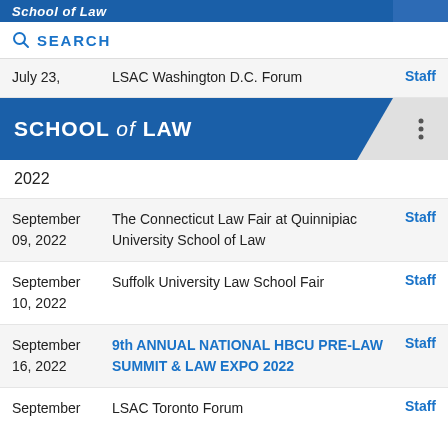School of Law
SEARCH
July 23, | LSAC Washington D.C. Forum | Staff
SCHOOL of LAW
2022
September 09, 2022 | The Connecticut Law Fair at Quinnipiac University School of Law | Staff
September 10, 2022 | Suffolk University Law School Fair | Staff
September 16, 2022 | 9th ANNUAL NATIONAL HBCU PRE-LAW SUMMIT & LAW EXPO 2022 | Staff
September | LSAC Toronto Forum | Staff